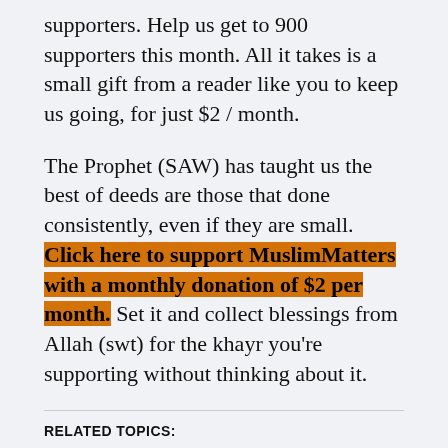supporters. Help us get to 900 supporters this month. All it takes is a small gift from a reader like you to keep us going, for just $2 / month.
The Prophet (SAW) has taught us the best of deeds are those that done consistently, even if they are small. Click here to support MuslimMatters with a monthly donation of $2 per month. Set it and collect blessings from Allah (swt) for the khayr you're supporting without thinking about it.
RELATED TOPICS:
UP NEXT